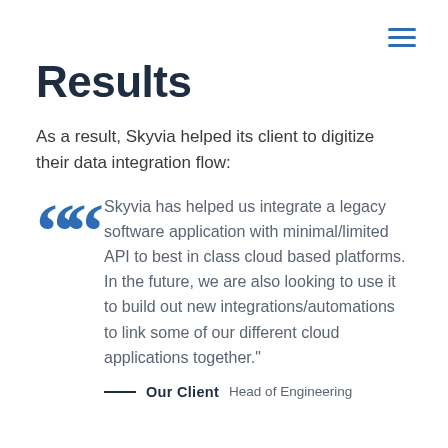Results
As a result, Skyvia helped its client to digitize their data integration flow:
Skyvia has helped us integrate a legacy software application with minimal/limited API to best in class cloud based platforms. In the future, we are also looking to use it to build out new integrations/automations to link some of our different cloud applications together."
Our Client  Head of Engineering